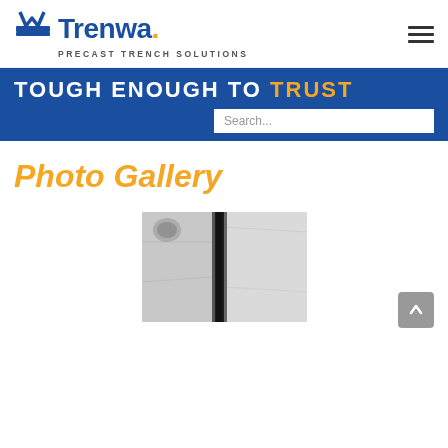[Figure (logo): Trenwa Precast Trench Solutions logo with blue icon and text, orange dot, subtitle 'PRECAST TRENCH SOLUTIONS']
TOUGH ENOUGH TO TRUST
Search...
Photo Gallery
[Figure (photo): Black and white photo of a precast trench/drain installed in a concrete floor, viewed from above]